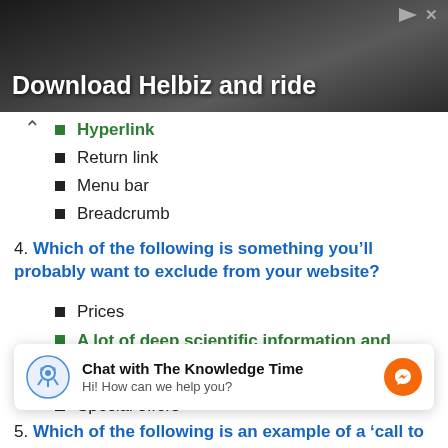[Figure (photo): Advertisement banner: dark background with a person holding a camera/equipment, text 'Download Helbiz and ride' in white bold font, with ad controls (play button and X) in top-right corner.]
Hyperlink
Return link
Menu bar
Breadcrumb
4. Which of the following is something you'll probably want to exclude from your website?
Prices
A lot of deep scientific information and detailed statistics
Special offers
Certifications to show you're qualified to provide a
[Figure (screenshot): Chat widget: 'Chat with The Knowledge Time' with subtitle 'Hi! How can we help you?' and a brain/light bulb icon on the left and orange Messenger icon on the right.]
5. Which of the following is an example of a 'call to